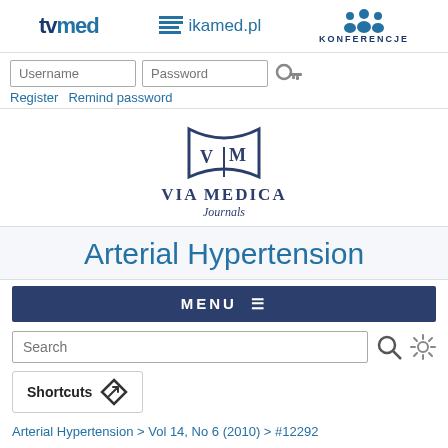[Figure (logo): tvmed logo in dark blue bold text]
[Figure (logo): ikamed.pl logo with horizontal lines icon]
[Figure (logo): KONFERENCJE logo with people icon]
[Figure (screenshot): Username and Password input fields with key icon]
Register  Remind password
[Figure (logo): Via Medica Journals logo with open book and V M letters]
Arterial Hypertension
MENU ≡
[Figure (screenshot): Search input field with magnifier and settings gear icons]
Shortcuts
Arterial Hypertension > Vol 14, No 6 (2010) > #12292